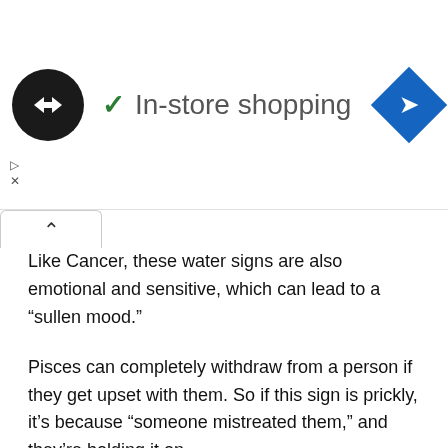[Figure (screenshot): Advertisement banner showing a black circular logo with double-ended arrows, a green checkmark, 'In-store shopping' text, and a blue diamond navigation icon on the right. Small play and close icons on the left below the logo.]
Like Cancer, these water signs are also emotional and sensitive, which can lead to a “sullen mood.”
Pisces can completely withdraw from a person if they get upset with them. So if this sign is prickly, it’s because “someone mistreated them,” and they’re holding it on.
4. Capricorn
Capricorns always aim to do their best and expect others to work as hard as they do. They get grouchy when the people around them don’t work hard. This can be especially